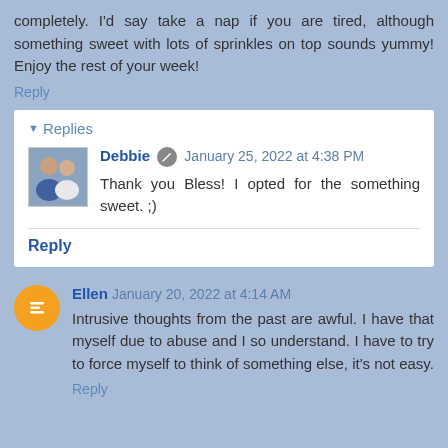completely. I'd say take a nap if you are tired, although something sweet with lots of sprinkles on top sounds yummy! Enjoy the rest of your week!
Reply
Replies
Debbie  January 25, 2022 at 4:38 PM
Thank you Bless! I opted for the something sweet. ;)
Reply
Ellen  January 20, 2022 at 4:14 AM
Intrusive thoughts from the past are awful. I have that myself due to abuse and I so understand. I have to try to force myself to think of something else, it's not easy.
Reply